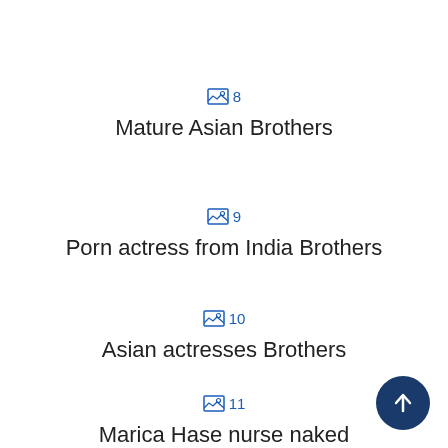🖼 8 Mature Asian Brothers
🖼 9 Porn actress from India Brothers
🖼 10 Asian actresses Brothers
🖼 11 Marica Hase nurse naked